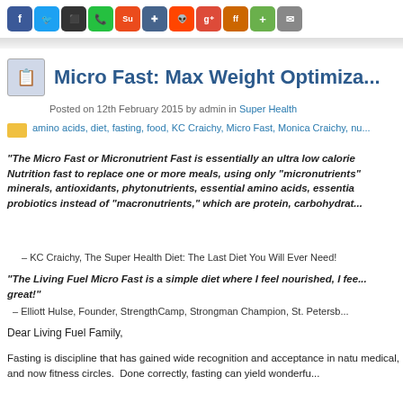[Figure (illustration): Social media sharing icons row: Facebook, Twitter, Delicious, Phone/WhatsApp, StumbleUpon, Digg, Reddit, Google+, FriendFeed, GreenPlus, Email]
Micro Fast: Max Weight Optimiza...
Posted on 12th February 2015 by admin in Super Health
amino acids, diet, fasting, food, KC Craichy, Micro Fast, Monica Craichy, nu...
“The Micro Fast or Micronutrient Fast is essentially an ultra low calorie Nutrition fast to replace one or more meals, using only “micronutrients” minerals, antioxidants, phytonutrients, essential amino acids, essential probiotics instead of “macronutrients,” which are protein, carbohydrat...
– KC Craichy, The Super Health Diet: The Last Diet You Will Ever Need!
“The Living Fuel Micro Fast is a simple diet where I feel nourished, I fee... great!”
– Elliott Hulse, Founder, StrengthCamp, Strongman Champion, St. Petersb...
Dear Living Fuel Family,
Fasting is discipline that has gained wide recognition and acceptance in natu medical, and now fitness circles.  Done correctly, fasting can yield wonderfu...